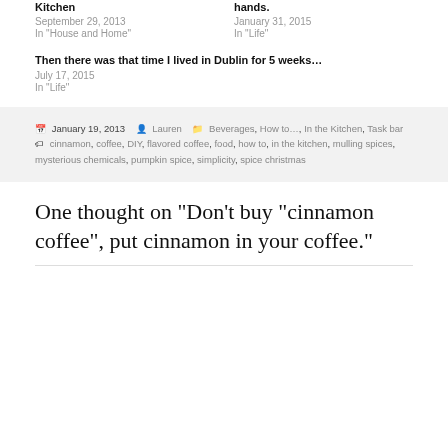Kitchen
September 29, 2013
In "House and Home"
hands.
January 31, 2015
In "Life"
Then there was that time I lived in Dublin for 5 weeks…
July 17, 2015
In "Life"
Posted January 19, 2013  Author Lauren  Categories Beverages, How to…, In the Kitchen, Task bar  Tags cinnamon, coffee, DIY, flavored coffee, food, how to, in the kitchen, mulling spices, mysterious chemicals, pumpkin spice, simplicity, spice christmas
One thought on “Don’t buy “cinnamon coffee”, put cinnamon in your coffee.”